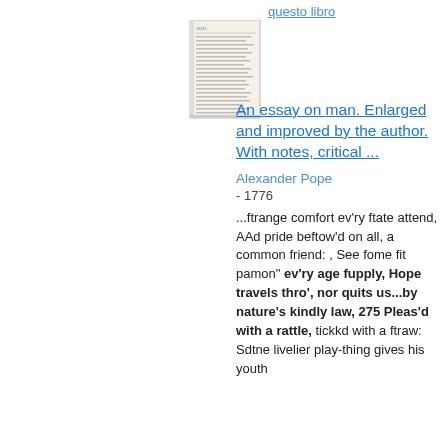questo libro
[Figure (illustration): Thumbnail of a book page showing text columns, appearing to be an old printed book page]
An essay on man. Enlarged and improved by the author. With notes, critical ...
Alexander Pope
- 1776
...ftrange comfort ev'ry ftate attend, AAd pride beftow'd on all, a common friend: , See fome fit pamon" ev'ry age fupply, Hope travels thro', nor quits us...by nature's kindly law, 275 Pleas'd with a rattle, tickkd with a ftraw: Sdtne livelier play-thing gives his youth